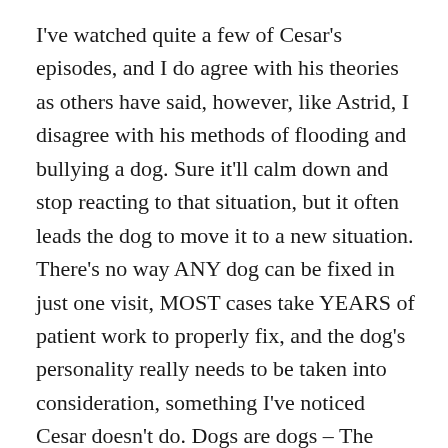I've watched quite a few of Cesar's episodes, and I do agree with his theories as others have said, however, like Astrid, I disagree with his methods of flooding and bullying a dog. Sure it'll calm down and stop reacting to that situation, but it often leads the dog to move it to a new situation. There's no way ANY dog can be fixed in just one visit, MOST cases take YEARS of patient work to properly fix, and the dog's personality really needs to be taken into consideration, something I've noticed Cesar doesn't do. Dogs are dogs – The same principle works for dogs are not people, our domestic dogs are NOT wolves! Yes, they are pack animals and we need to be calm, assertive leaders as Cesar puts it, but there's no need to